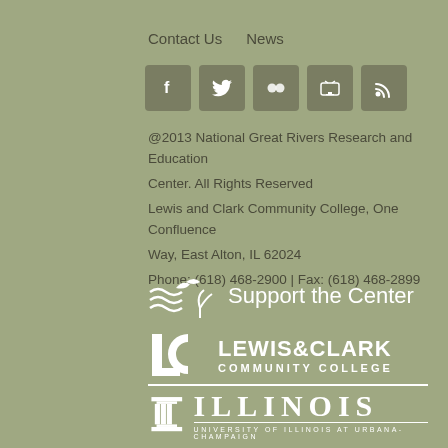Contact Us   News
[Figure (other): Social media icon buttons: Facebook, Twitter, Flickr, TV/Video, RSS Feed]
@2013 National Great Rivers Research and Education Center. All Rights Reserved
Lewis and Clark Community College, One Confluence Way, East Alton, IL 62024
Phone: (618) 468-2900 | Fax: (618) 468-2899
[Figure (logo): Support the Center logo with wave/plant graphic]
[Figure (logo): Lewis & Clark Community College logo]
[Figure (logo): Illinois - University of Illinois at Urbana-Champaign logo]